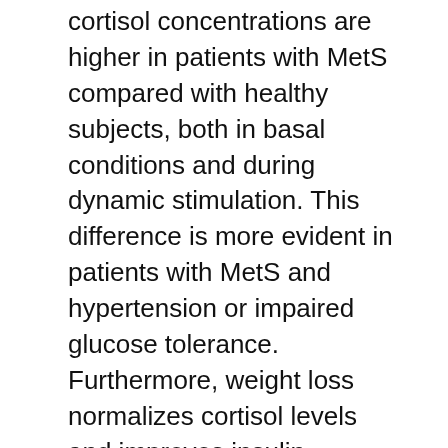cortisol concentrations are higher in patients with MetS compared with healthy subjects, both in basal conditions and during dynamic stimulation. This difference is more evident in patients with MetS and hypertension or impaired glucose tolerance. Furthermore, weight loss normalizes cortisol levels and improves insulin resistance. Despite the fact that cortisol levels are within the normal range, there is evidence of increased activity of cortisol in the periphery and dysregulation of the hypothalamic-pituitary-adrenal axis.
Differences between CS and MetS also need to be emphasized; in CS, once the tumor is removed, symptoms improve; in the MetS, weight loss